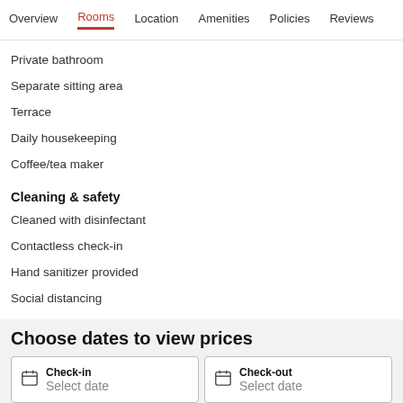Overview  Rooms  Location  Amenities  Policies  Reviews
Private bathroom
Separate sitting area
Terrace
Daily housekeeping
Coffee/tea maker
Cleaning & safety
Cleaned with disinfectant
Contactless check-in
Hand sanitizer provided
Social distancing
Choose dates to view prices
Check-in
Select date
Check-out
Select date